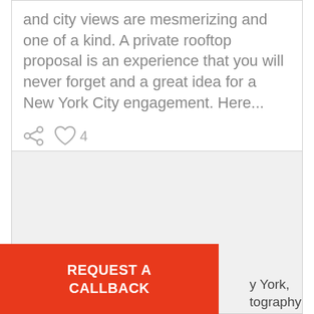and city views are mesmerizing and one of a kind. A private rooftop proposal is an experience that you will never forget and a great idea for a New York City engagement. Here...
[Figure (screenshot): Social media card with share and heart (like count 4) icons below text content]
[Figure (photo): Empty white/light gray image card placeholder]
REQUEST A CALLBACK
y York, tography